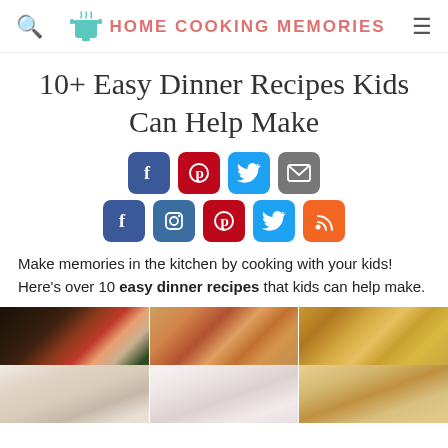HOME COOKING MEMORIES
10+ Easy Dinner Recipes Kids Can Help Make
[Figure (infographic): Social sharing buttons: Facebook (blue), Pinterest (red), Twitter (blue), Email (gray) on top row; Facebook, Instagram, Pinterest, Twitter, RSS on bottom row]
Make memories in the kitchen by cooking with your kids! Here's over 10 easy dinner recipes that kids can help make.
[Figure (photo): Three food photos showing easy dinner recipes kids can help make: soups/tomato dishes, pizza/flatbread, and cheesy dishes in a 2-row grid]